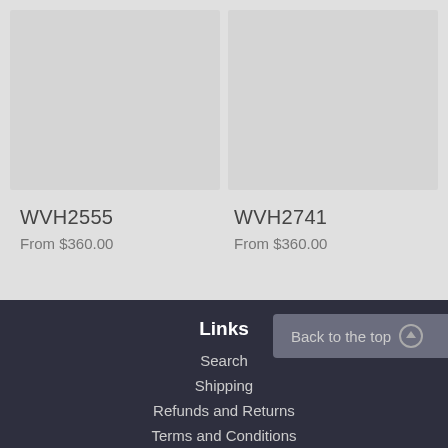[Figure (photo): Two product image placeholders side by side, light gray rectangles]
WVH2555
From $360.00
WVH2741
From $360.00
Links
Back to the top ↑
Search
Shipping
Refunds and Returns
Terms and Conditions